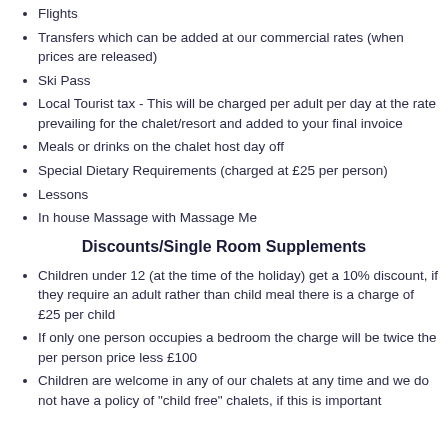Flights
Transfers which can be added at our commercial rates (when prices are released)
Ski Pass
Local Tourist tax - This will be charged per adult per day at the rate prevailing for the chalet/resort and added to your final invoice
Meals or drinks on the chalet host day off
Special Dietary Requirements (charged at £25 per person)
Lessons
In house Massage with Massage Me
Discounts/Single Room Supplements
Children under 12 (at the time of the holiday) get a 10% discount, if they require an adult rather than child meal there is a charge of £25 per child
If only one person occupies a bedroom the charge will be twice the per person price less £100
Children are welcome in any of our chalets at any time and we do not have a policy of "child free" chalets, if this is important